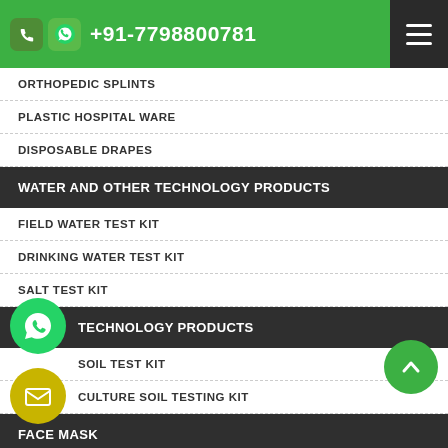+91-7798800781
ORTHOPEDIC SPLINTS
PLASTIC HOSPITAL WARE
DISPOSABLE DRAPES
WATER AND OTHER TECHNOLOGY PRODUCTS
FIELD WATER TEST KIT
DRINKING WATER TEST KIT
SALT TEST KIT
TECHNOLOGY PRODUCTS
SOIL TEST KIT
CULTURE SOIL TESTING KIT
FACE MASK
KIDS MEDICAL FACE MASK